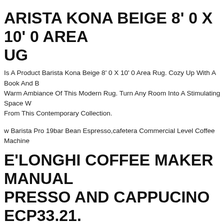BARISTA KONA BEIGE 8' 0 X 10' 0 AREA RUG
Is A Product Barista Kona Beige 8' 0 X 10' 0 Area Rug. Cozy Up With A Book And B Warm Ambiance Of This Modern Rug. Turn Any Room Into A Stimulating Space W From This Contemporary Collection.
w Barista Pro 19bar Bean Espresso,cafetera Commercial Level Coffee Machine
E'LONGHI COFFEE MAKER MANUAL PRESSO AND CAPPUCINO ECP33.21. CH BARISTA
nghi Presents The Line Of Espresso Machines With A Professional Finish And filter That Recall The Traditional Way Of Preparing An Espresso. The Machine Is pped With Three Filters For Both Coffee Powder And Ese Capsules. Not Only Coff lso Milk Foam With The Adjustable Cappuccino System, Which Can Also Be Use m And Hot Water. 1.1 L Removable Tank, Equipped With Cup Warmer. Automatic down System. Elegant Red And Silver Espresso Machine For Unforgettable Coffe ks. Personalized Espresso Thanks To Professional Barista Technology, You Can